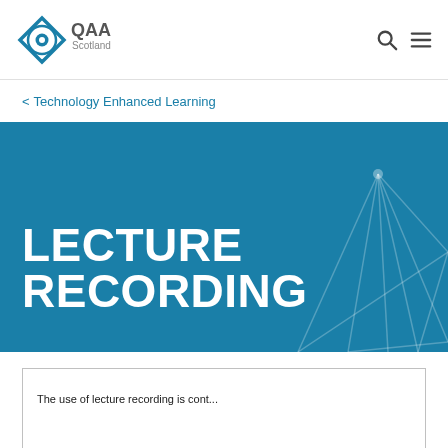QAA Scotland
< Technology Enhanced Learning
LECTURE RECORDING
The use of lecture recording is...